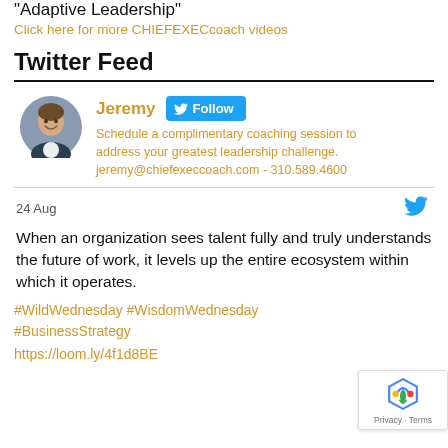"Adaptive Leadership"
Click here for more CHIEFEXECcoach videos
Twitter Feed
[Figure (photo): Circular avatar photo of Jeremy, a man in a suit smiling]
Jeremy  Follow
Schedule a complimentary coaching session to address your greatest leadership challenge. jeremy@chiefexeccoach.com - 310.589.4600
24 Aug
When an organization sees talent fully and truly understands the future of work, it levels up the entire ecosystem within which it operates.
#WildWednesday #WisdomWednesday #BusinessStrategy
https://loom.ly/4f1d8BE